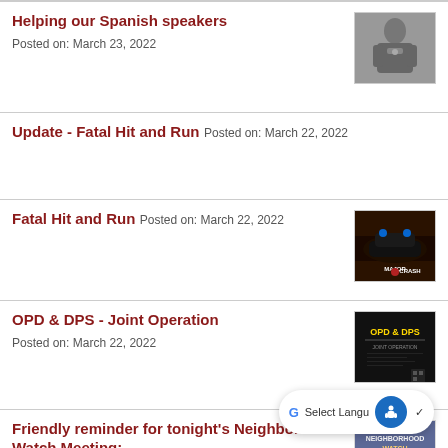Helping our Spanish speakers
Posted on: March 23, 2022
[Figure (photo): Black and white photo of a police officer in uniform]
Update - Fatal Hit and Run
Posted on: March 22, 2022
Fatal Hit and Run
Posted on: March 22, 2022
[Figure (photo): Police car at night with MAJOR CRASH text overlay]
OPD & DPS - Joint Operation
Posted on: March 22, 2022
[Figure (photo): Dark promotional image with OPD & DPS text in yellow]
Friendly reminder for tonight's Neighborhood Watch Meeting:
Posted on: March 22, 2022
[Figure (photo): Neighborhood watch meeting flyer image]